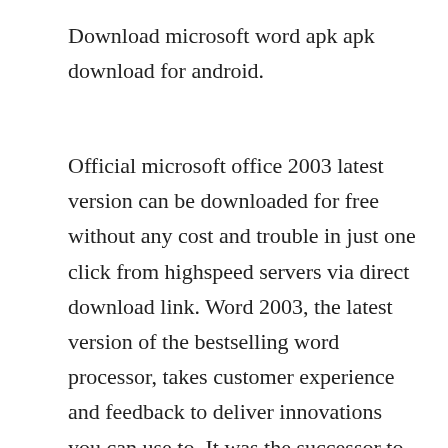Download microsoft word apk apk download for android.
Official microsoft office 2003 latest version can be downloaded for free without any cost and trouble in just one click from highspeed servers via direct download link. Word 2003, the latest version of the bestselling word processor, takes customer experience and feedback to deliver innovations you can use to. It was the successor to office xp and the predecessor to office 2007. Download microsoft office mobile apk for android free